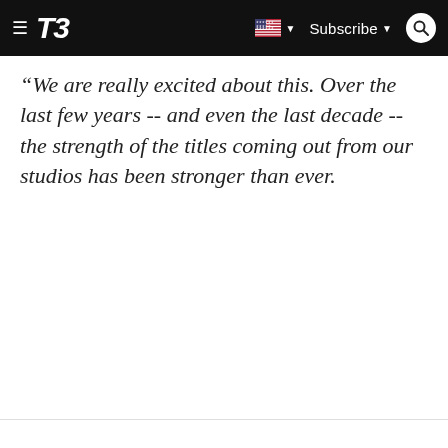T3 | Subscribe
“We are really excited about this. Over the last few years -- and even the last decade -- the strength of the titles coming out from our studios has been stronger than ever.